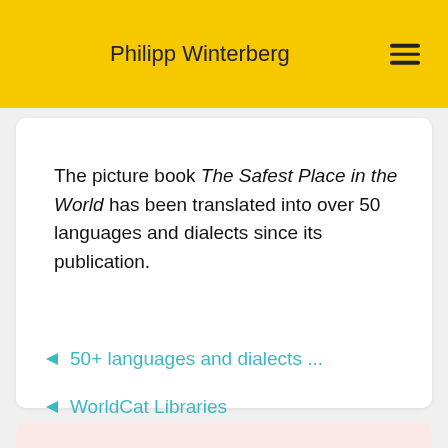Philipp Winterberg
The picture book The Safest Place in the World has been translated into over 50 languages and dialects since its publication.
50+ languages and dialects ...
WorldCat Libraries
[Figure (illustration): Book cover for 'Egbert Turns Red' by Philipp Winterberg, shown on a pink background. Large bold red title text reads 'EGBERT TURNS RED' with smaller italic red subtitle text below.]